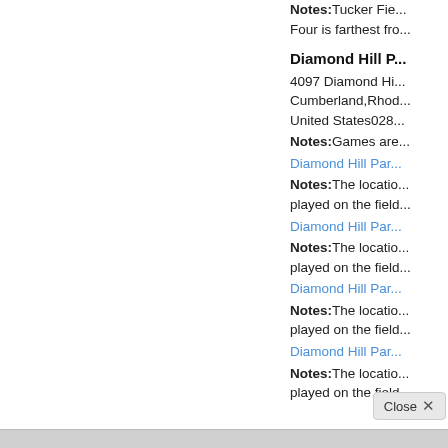Notes:Tucker Fie... Four is farthest fro...
Diamond Hill P...
4097 Diamond Hi...
Cumberland,Rhod...
United States028...
Notes:Games are...
Diamond Hill Par...
Notes:The locatio... played on the field...
Diamond Hill Par...
Notes:The locatio... played on the field...
Diamond Hill Par...
Notes:The locatio... played on the field...
Diamond Hill Par...
Notes:The locatio... played on the field...